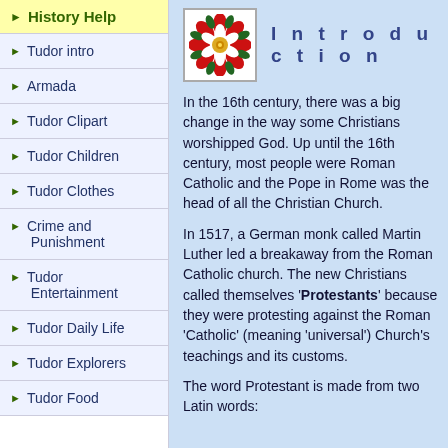History Help
Tudor intro
Armada
Tudor Clipart
Tudor Children
Tudor Clothes
Crime and Punishment
Tudor Entertainment
Tudor Daily Life
Tudor Explorers
Tudor Food
[Figure (illustration): Tudor rose emblem: red rose with white center and green leaves on white background]
Introduction
In the 16th century, there was a big change in the way some Christians worshipped God. Up until the 16th century, most people were Roman Catholic and the Pope in Rome was the head of all the Christian Church.
In 1517, a German monk called Martin Luther led a breakaway from the Roman Catholic church. The new Christians called themselves 'Protestants' because they were protesting against the Roman 'Catholic' (meaning 'universal') Church's teachings and its customs.
The word Protestant is made from two Latin words: